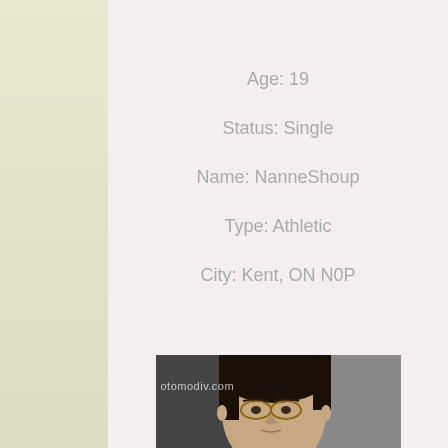Age: 19
Status: Single
Name: NanneShoup
Type: Athletic
City: Kent, ON N0P
[Figure (photo): Portrait photo of a person with glasses and dark hair, watermarked with otomodiv.com]